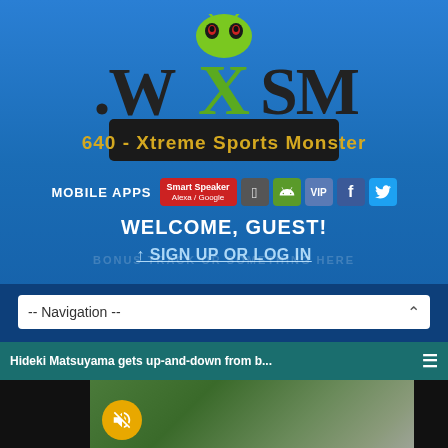[Figure (logo): WXSM 640 - Xtreme Sports Monster logo with green monster mascot and dark stylized lettering]
MOBILE APPS  Smart Speaker Alexa / Google  [Apple] [Android] VIP [Facebook] [Twitter]
WELCOME, GUEST!
↑ SIGN UP OR LOG IN
-- Navigation --
Hideki Matsuyama gets up-and-down from b...
[Figure (screenshot): Video thumbnail showing golf course, with mute button overlay]